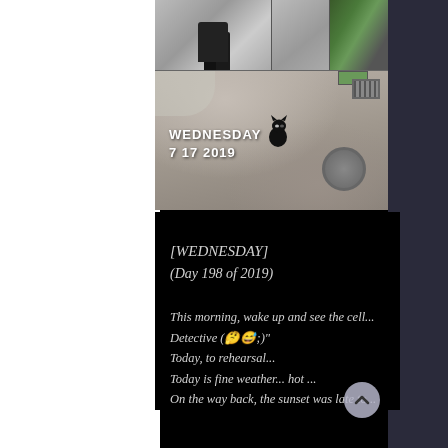[Figure (photo): Photo collage: top row has three photos (person's feet/legs from above, a street scene, greenery/buildings), main photo shows a black cat sitting on a paved road/alley viewed from above, with date overlay WEDNESDAY 7 17 2019]
[WEDNESDAY]
(Day 198 of 2019)
This morning, wake up and see the cell...
Detective (🤔😅;)"
Today, to rehearsal...
Today is fine weather... hot ...
On the way back, the sunset was late to...